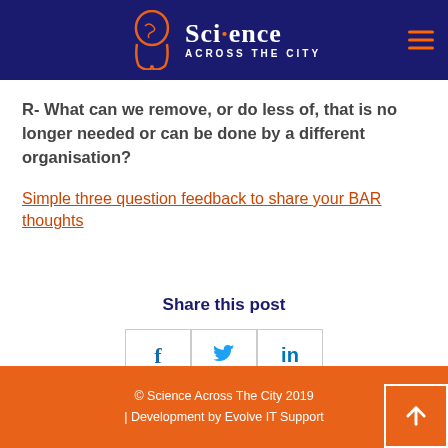Science Across The City
R- What can we remove, or do less of, that is no longer needed or can be done by a different organisation?
Simple three question feedback to share your BAR thoughts
Share this post
[Figure (other): Social share buttons: Facebook (f), Twitter (bird icon), LinkedIn (in)]
© Science Across The City 2019 | Development by Evolve IT Support